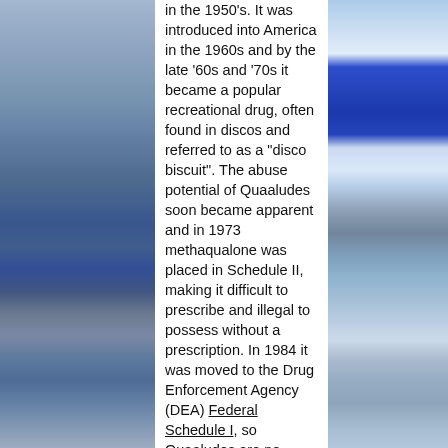[Figure (photo): Left side photo strip showing a news broadcast or informational video segment with blue background]
in the 1950's. It was introduced into America in the 1960s and by the late '60s and '70s it became a popular recreational drug, often found in discos and referred to as a "disco biscuit". The abuse potential of Quaaludes soon became apparent and in 1973 methaqualone was placed in Schedule II, making it difficult to prescribe and illegal to possess without a prescription. In 1984 it was moved to the Drug Enforcement Agency (DEA) Federal Schedule I, so Quaaludes are no longer legally available in the United States. Schedule I drugs have a high potential for abuse, no currently accepted medical treatment use in the U.S., and lack accepted safety for use under medical supervision.
Quaaludes that are sold only for illicit recreational use now are synthesized in clandestine laboratories. Illegally produced Quaaludes can contain other central nervous system depressants such as benzodiazepines or even fentanyl.
In the 1960s a methaqualone and diphenhydramine combination pill called
[Figure (photo): Right side photo strip showing a pharmacy or drugstore interior with a person reaching for items on shelves and a blue sign visible at top]